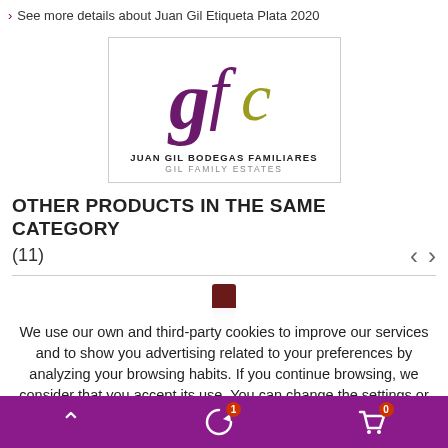› See more details about Juan Gil Etiqueta Plata 2020
[Figure (logo): Juan Gil Bodegas Familiares - Gil Family Estates logo with stylized GFC letters in purple and gold]
OTHER PRODUCTS IN THE SAME CATEGORY (11)
[Figure (photo): Partial view of a wine bottle with dark red/maroon cap]
We use our own and third-party cookies to improve our services and to show you advertising related to your preferences by analyzing your browsing habits. If you continue browsing, we consider that you accept its use. You can change the settings or get more information here
close